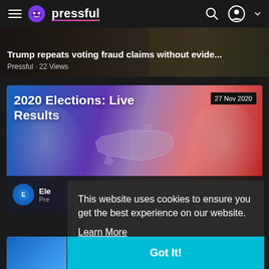pressful
Trump repeats voting fraud claims without evide...
Pressful · 22 Views
[Figure (screenshot): 2020 Elections: Live Results card with Biden and Trump faces on blue/red background, US map outline in center, dated 27 Nov 2020]
This website uses cookies to ensure you get the best experience on our website.
Learn More
Got It!